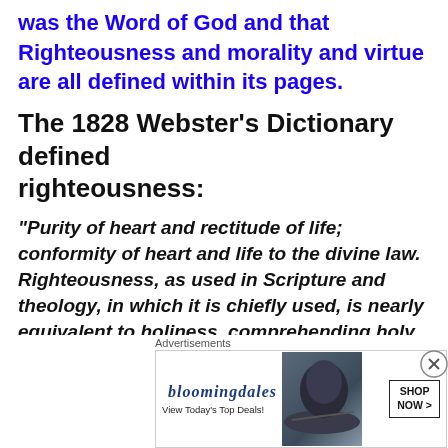was the Word of God and that Righteousness and morality and virtue are all defined within its pages.
The 1828 Webster’s Dictionary defined righteousness:
“Purity of heart and rectitude of life; conformity of heart and life to the divine law. Righteousness, as used in Scripture and theology, in which it is chiefly used, is nearly equivalent to holiness, comprehending holy principles and affections of heart, and conformity of life to the divine law. It includes all we call justice, honesty and virtue, with holy affections; in short, it is
Advertisements
[Figure (other): Bloomingdale's advertisement: logo text 'bloomingdales', tagline 'View Today’s Top Deals!', image of woman in wide-brimmed hat, 'SHOP NOW >' button]